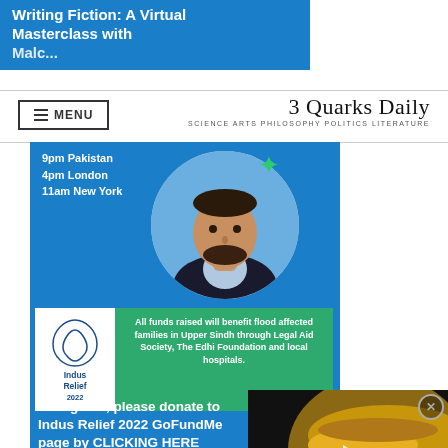Writing Fiction: A Virtual Masterclass with Malcolm Inald...
MENU | 3 Quarks Daily — SCIENCE ARTS PHILOSOPHY POLITICS LITERATURE
[Figure (photo): Portrait photo of a man in a blue banner advertisement for a virtual masterclass event]
9pm Pakistan
4pm London
11am New York
All funds raised will benefit flood affected families in Upper Sindh through Legal Aid Society, The Edhi Foundation and local hospitals.
To register, please donate to Indus Relief 2022 GoFundMe page by CLICKING HERE
thewritingroomco@gma...
with receipt/proof. Mini... donation is $15...